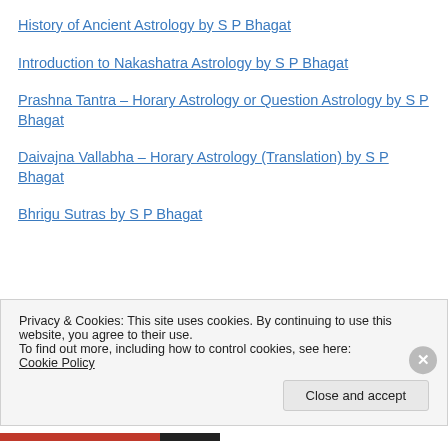History of Ancient Astrology by S P Bhagat
Introduction to Nakashatra Astrology by S P Bhagat
Prashna Tantra – Horary Astrology or Question Astrology by S P Bhagat
Daivajna Vallabha – Horary Astrology (Translation) by S P Bhagat
Bhrigu Sutras by S P Bhagat
Privacy & Cookies: This site uses cookies. By continuing to use this website, you agree to their use.
To find out more, including how to control cookies, see here: Cookie Policy
Close and accept